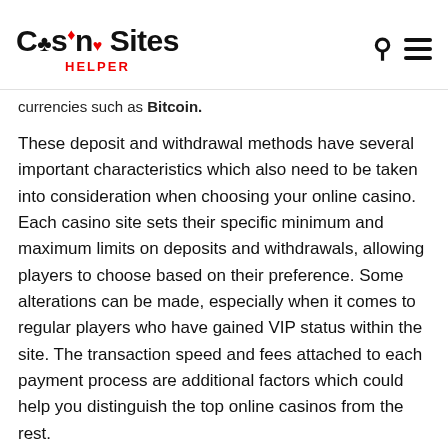Casino Sites HELPER
currencies such as Bitcoin.
These deposit and withdrawal methods have several important characteristics which also need to be taken into consideration when choosing your online casino. Each casino site sets their specific minimum and maximum limits on deposits and withdrawals, allowing players to choose based on their preference. Some alterations can be made, especially when it comes to regular players who have gained VIP status within the site. The transaction speed and fees attached to each payment process are additional factors which could help you distinguish the top online casinos from the rest.
Licensing Regulations & IT Security at the Top Online Casinos